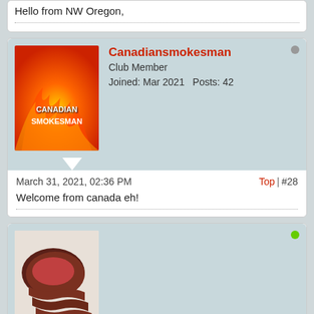Hello from NW Oregon,
Canadiansmokesman
Club Member
Joined: Mar 2021    Posts: 42
March 31, 2021, 02:36 PM
Top | #28
Welcome from canada eh!
Redwng
Charter Member